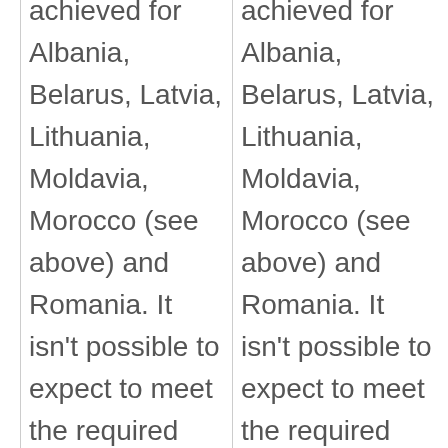| achieved for Albania, Belarus, Latvia, Lithuania, Moldavia, Morocco (see above) and Romania. It isn't possible to expect to meet the required | achieved for Albania, Belarus, Latvia, Lithuania, Moldavia, Morocco (see above) and Romania. It isn't possible to expect to meet the required |